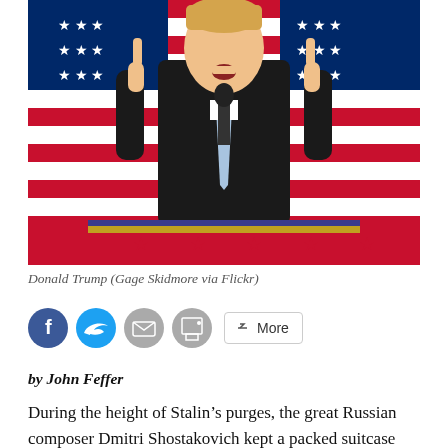[Figure (photo): Donald Trump speaking at a podium with microphone, hands raised with index fingers pointing up, wearing a dark suit and blue striped tie, with American flags in the background and a red, white, and blue star-decorated podium front.]
Donald Trump (Gage Skidmore via Flickr)
[Figure (infographic): Social sharing bar with Facebook, Twitter, email, print buttons and a More button]
by John Feffer
During the height of Stalin’s purges, the great Russian composer Dmitri Shostakovich kept a packed suitcase near the door of his apartment.